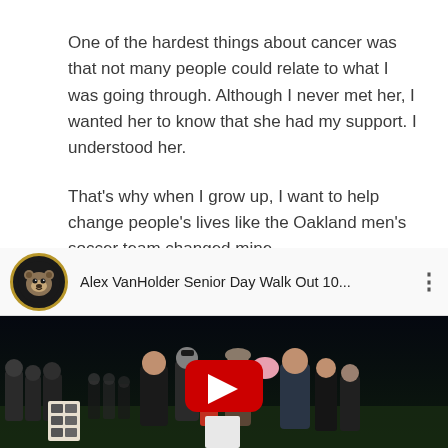One of the hardest things about cancer was that not many people could relate to what I was going through. Although I never met her, I wanted her to know that she had my support. I understood her.

That's why when I grow up, I want to help change people's lives like the Oakland men's soccer team changed mine.
[Figure (screenshot): YouTube video thumbnail showing 'Alex VanHolder Senior Day Walk Out 10...' with Oakland University bear logo, people gathered on a soccer field at night, and a red YouTube play button in the center.]